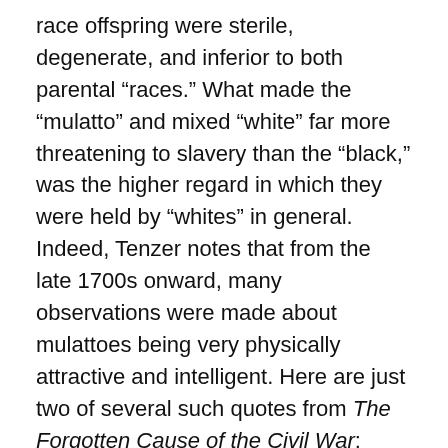race offspring were sterile, degenerate, and inferior to both parental “races.” What made the “mulatto” and mixed “white” far more threatening to slavery than the “black,” was the higher regard in which they were held by “whites” in general. Indeed, Tenzer notes that from the late 1700s onward, many observations were made about mulattoes being very physically attractive and intelligent. Here are just two of several such quotes from The Forgotten Cause of the Civil War:
English traveler Edward S. Abdy, 1835 recalled:
the dread that the species will be deteriorated by “crossing the breed”; though every one knows, who is capable of comparing forms and figures, that the finest specimens of beauty and symmetry are to be found among those whose veins are filled with mixed blood.